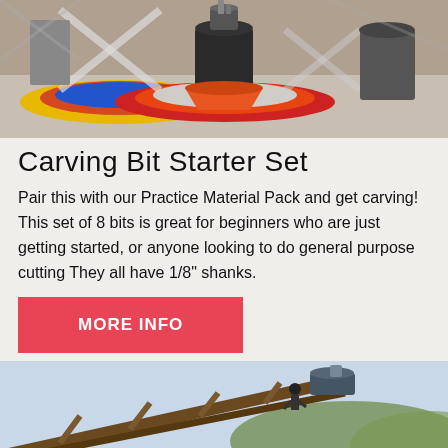[Figure (photo): Industrial mining or processing machinery with large cone-shaped equipment on colorful circular platforms (red, blue, yellow) inside a factory/trade show floor. X-shaped structural supports visible.]
Carving Bit Starter Set
Pair this with our Practice Material Pack and get carving! This set of 8 bits is great for beginners who are just getting started, or anyone looking to do general purpose cutting They all have 1/8" shanks.
MORE INFO
[Figure (photo): Outdoor industrial conveyor belt structure, angled metal framework with machinery, photographed against a light sky with green hills in the background.]